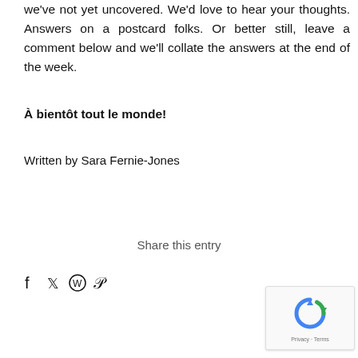we've not yet uncovered. We'd love to hear your thoughts. Answers on a postcard folks. Or better still, leave a comment below and we'll collate the answers at the end of the week.
À bientôt tout le monde!
Written by Sara Fernie-Jones
Share this entry
[Figure (other): Social media sharing icons: Facebook, Twitter, WhatsApp, Pinterest]
[Figure (other): Google reCAPTCHA widget with recycling arrow logo and Privacy - Terms footer text]